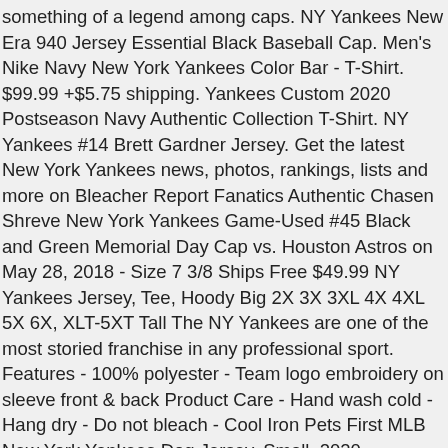something of a legend among caps. NY Yankees New Era 940 Jersey Essential Black Baseball Cap. Men's Nike Navy New York Yankees Color Bar - T-Shirt. $99.99 +$5.75 shipping. Yankees Custom 2020 Postseason Navy Authentic Collection T-Shirt. NY Yankees #14 Brett Gardner Jersey. Get the latest New York Yankees news, photos, rankings, lists and more on Bleacher Report Fanatics Authentic Chasen Shreve New York Yankees Game-Used #45 Black and Green Memorial Day Cap vs. Houston Astros on May 28, 2018 - Size 7 3/8 Ships Free $49.99 NY Yankees Jersey, Tee, Hoody Big 2X 3X 3XL 4X 4XL 5X 6X, XLT-5XT Tall The NY Yankees are one of the most storied franchise in any professional sport. Features - 100% polyester - Team logo embroidery on sleeve front & back Product Care - Hand wash cold - Hang dry - Do not bleach - Cool Iron Pets First MLB New York Yankees Dog Jersey, Small. 2020 Postseason $39.99; MLB New York Yankees Golden Edition Jersey Last season, the Yankees wore black arm bands to … Adjustable rear slide strap Men's Majestic Black New York Yankees 2019 Division Series Winner